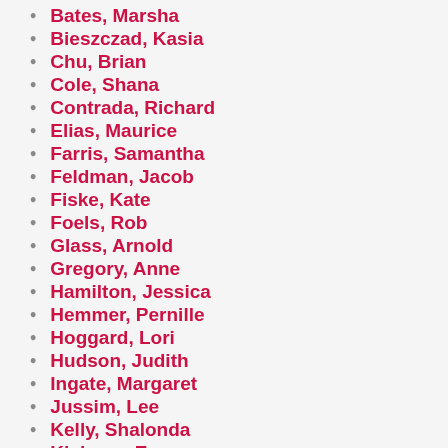Bates, Marsha
Bieszczad, Kasia
Chu, Brian
Cole, Shana
Contrada, Richard
Elias, Maurice
Farris, Samantha
Feldman, Jacob
Fiske, Kate
Foels, Rob
Glass, Arnold
Gregory, Anne
Hamilton, Jessica
Hemmer, Pernille
Hoggard, Lori
Hudson, Judith
Ingate, Margaret
Jussim, Lee
Kelly, Shalonda
Kleiman, Evan